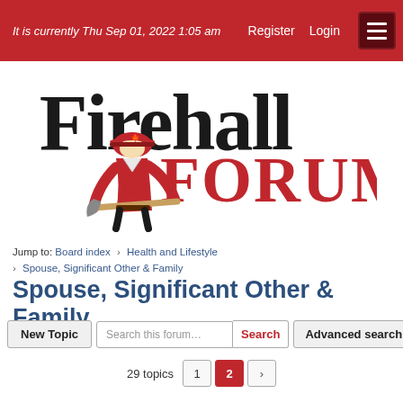It is currently Thu Sep 01, 2022 1:05 am   Register   Login
[Figure (logo): Firehall Forum logo with cartoon firefighter holding an axe. 'Firehall' in large black bold text, 'FORUM' in large red bold text.]
Jump to: Board index › Health and Lifestyle › Spouse, Significant Other & Family
Spouse, Significant Other & Family
New Topic   Search this forum...   Search   Advanced search
29 topics   1   2   >